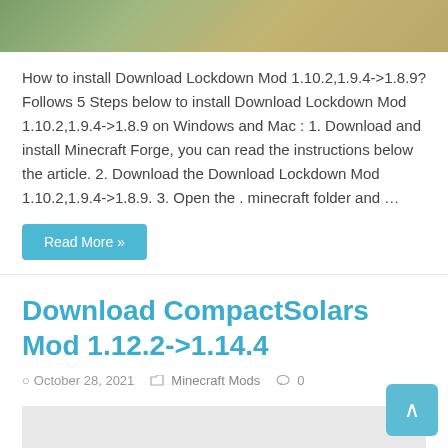[Figure (photo): Partial screenshot of a Minecraft or game-related image at top of page]
How to install Download Lockdown Mod 1.10.2,1.9.4->1.8.9? Follows 5 Steps below to install Download Lockdown Mod 1.10.2,1.9.4->1.8.9 on Windows and Mac : 1. Download and install Minecraft Forge, you can read the instructions below the article. 2. Download the Download Lockdown Mod 1.10.2,1.9.4->1.8.9. 3. Open the . minecraft folder and …
Read More »
Download CompactSolars Mod 1.12.2->1.14.4
October 28, 2021   Minecraft Mods   0
[Figure (photo): Gray placeholder thumbnail image for CompactSolars Mod article]